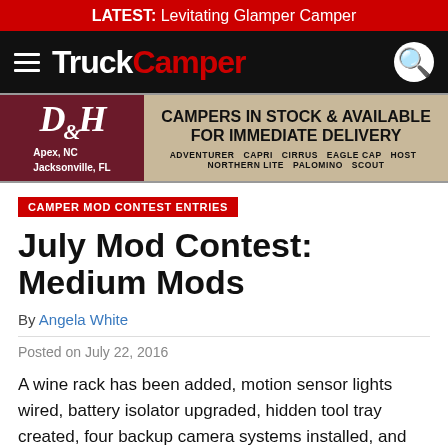LATEST: Levitating Glamper Camper
[Figure (logo): TruckCamper website navigation bar with hamburger menu, TruckCamper logo in white and red, and search icon]
[Figure (infographic): D&H dealership advertisement banner: Apex, NC / Jacksonville, FL. CAMPERS IN STOCK & AVAILABLE FOR IMMEDIATE DELIVERY. Brands: ADVENTURER CAPRI CIRRUS EAGLE CAP HOST NORTHERN LITE PALOMINO SCOUT]
CAMPER MOD CONTEST ENTRIES
July Mod Contest: Medium Mods
By Angela White
Posted on July 22, 2016
A wine rack has been added, motion sensor lights wired, battery isolator upgraded, hidden tool tray created, four backup camera systems installed, and more.  Pick your favorite mod, and vote.